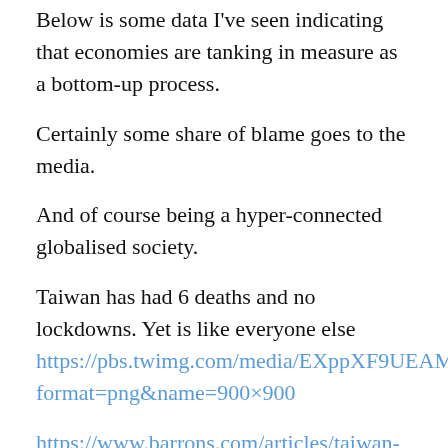Below is some data I've seen indicating that economies are tanking in measure as a bottom-up process.
Certainly some share of blame goes to the media.
And of course being a hyper-connected globalised society.
Taiwan has had 6 deaths and no lockdowns. Yet is like everyone else https://pbs.twimg.com/media/EXppXF9UEAMAL96?format=png&name=900×900
https://www.barrons.com/articles/taiwan-never-needed-shutdowns-to-control-